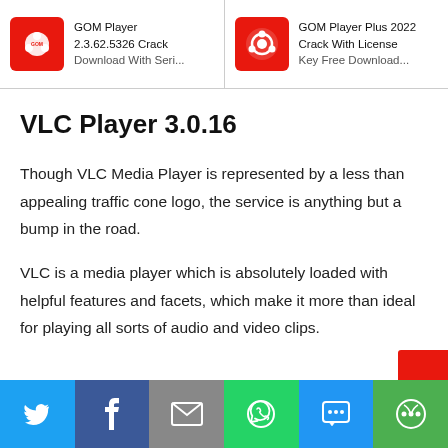GOM Player 2.3.62.5326 Crack Download With Seri... | GOM Player Plus 2022 Crack With License Key Free Download...
VLC Player 3.0.16
Though VLC Media Player is represented by a less than appealing traffic cone logo, the service is anything but a bump in the road.
VLC is a media player which is absolutely loaded with helpful features and facets, which make it more than ideal for playing all sorts of audio and video clips.
Social share bar: Twitter, Facebook, Email, WhatsApp, SMS, More